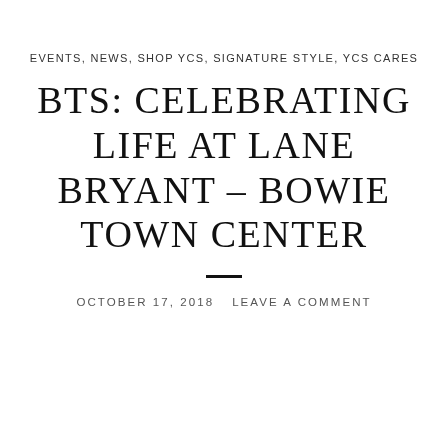EVENTS, NEWS, SHOP YCS, SIGNATURE STYLE, YCS CARES
BTS: CELEBRATING LIFE AT LANE BRYANT – BOWIE TOWN CENTER
OCTOBER 17, 2018   LEAVE A COMMENT